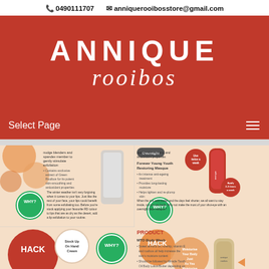📞 0490111707  ✉ anniquerooibosstore@gmail.com
ANNIQUE rooibos
Select Page
[Figure (infographic): Four-panel infographic with Annique Rooibos beauty tips and hacks. Top-left: Winter lip care WHY? panel with product image. Top-right: Overnight face masque WHY? panel with tube product. Bottom-left: HACK panel - Stock Up On Hand Cream with WHY? badge. Bottom-right: HACK panel - Moisturise Your Body Just As You Moisturise Your Face, with PRODUCT section for MTO Body Wash and MTO Body Butter.]